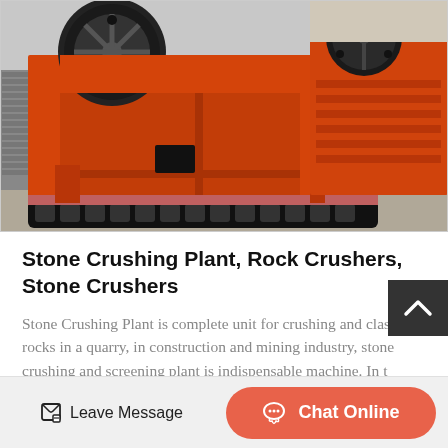[Figure (photo): Large orange jaw crusher / stone crushing machine on tracks, with a second similar machine visible in the background, outdoors on a concrete/dirt surface.]
Stone Crushing Plant, Rock Crushers, Stone Crushers
Stone Crushing Plant is complete unit for crushing and classify rocks in a quarry, in construction and mining industry, stone crushing and screening plant is indispensable machine. In t
Leave Message
Chat Online